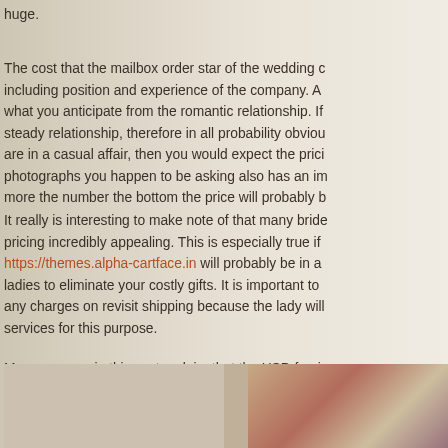huge.
The cost that the mailbox order star of the wedding c... including position and experience of the company. A... what you anticipate from the romantic relationship. If ... steady relationship, therefore in all probability obviou... are in a casual affair, then you would expect the prici... photographs you happen to be asking also has an im... more the number the bottom the price will probably b...
It really is interesting to make note of that many bride... pricing incredibly appealing. This is especially true if ... https://themes.alpha-cartface.in will probably be in a ... ladies to eliminate your costly gifts. It is important to ... any charges on revisit shipping because the lady will... services for this purpose.
Many persons in this sector claim that the USD fee is... proclaiming that it is a fictional by ALL OF US law co... items that come in the country. Therefore, these peo... rate is unimportant since a nonresident of the United... interesting point and one that we may debate on for ... let us glance at the other particulars of your matter.
[Figure (photo): Partial image strip visible at the bottom of the page showing decorative/floral pattern on the right side]